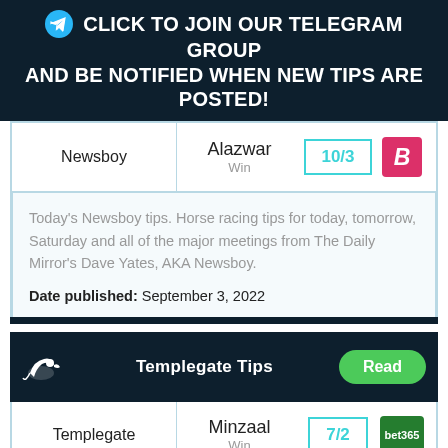CLICK TO JOIN OUR TELEGRAM GROUP AND BE NOTIFIED WHEN NEW TIPS ARE POSTED!
| Source | Horse | Odds | Bookie |
| --- | --- | --- | --- |
| Newsboy | Alazwar Win | 10/3 | B |
Today's Newsboy tips. Horse racing tips for today, tomorrow, Saturday and all of the major meetings from The Daily Mirror's Dave Yates, AKA Newsboy.
Date published: September 3, 2022
|  | Templegate Tips | Read |
| --- | --- | --- |
| Templegate | Minzaal Win | 7/2 | bet365 |
| Source | Horse | Odds | Bookie |
| --- | --- | --- | --- |
| Templegate | Minzaal Win | 7/2 | bet365 |